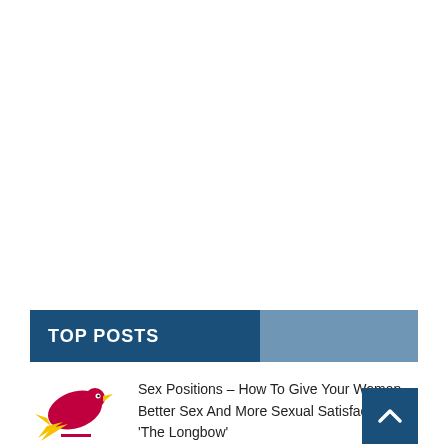TOP POSTS
[Figure (logo): Small bird/rocket logo in red and yellow on white background]
Sex Positions – How To Give Your Woman Better Sex And More Sexual Satisfaction 'The Longbow'